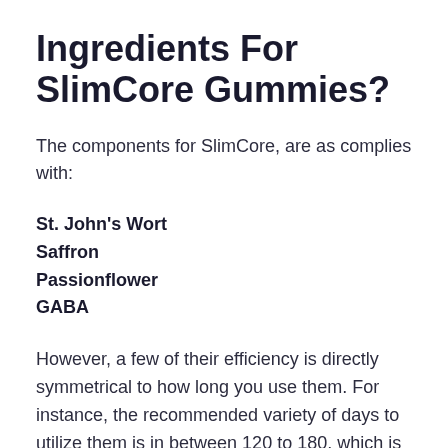Ingredients For SlimCore Gummies?
The components for SlimCore, are as complies with:
St. John's Wort
Saffron
Passionflower
GABA
However, a few of their efficiency is directly symmetrical to how long you use them. For instance, the recommended variety of days to utilize them is in between 120 to 180, which is around 4 to 6 months. You should not use it for